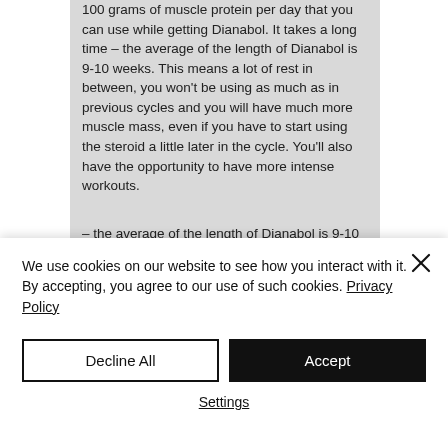100 grams of muscle protein per day that you can use while getting Dianabol. It takes a long time – the average of the length of Dianabol is 9-10 weeks. This means a lot of rest in between, you won't be using as much as in previous cycles and you will have much more muscle mass, even if you have to start using the steroid a little later in the cycle. You'll also have the opportunity to have more intense workouts.
– the average of the length of Dianabol is 9-10 weeks. This means a lot of rest in
We use cookies on our website to see how you interact with it. By accepting, you agree to our use of such cookies. Privacy Policy
Decline All
Accept
Settings